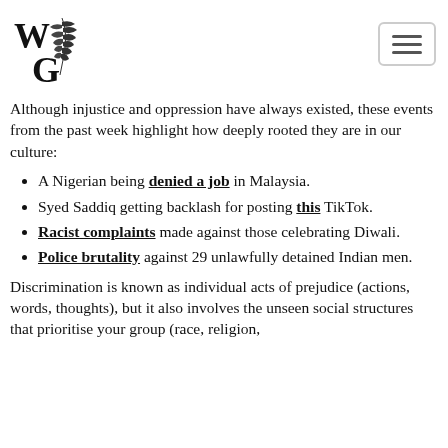[Figure (logo): WG logo with botanical leaf illustration and stylized letters W and G]
Although injustice and oppression have always existed, these events from the past week highlight how deeply rooted they are in our culture:
A Nigerian being denied a job in Malaysia.
Syed Saddiq getting backlash for posting this TikTok.
Racist complaints made against those celebrating Diwali.
Police brutality against 29 unlawfully detained Indian men.
Discrimination is known as individual acts of prejudice (actions, words, thoughts), but it also involves the unseen social structures that prioritise your group (race, religion,